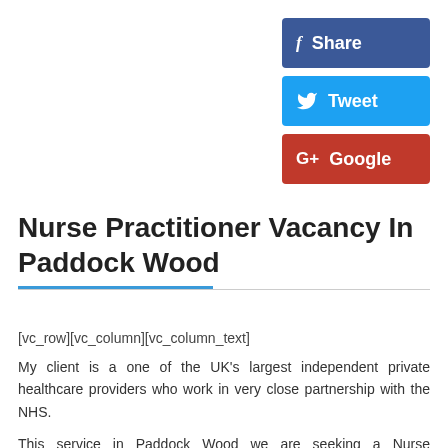[Figure (other): Facebook Share button - dark blue rounded rectangle with 'f Share' text]
[Figure (other): Twitter Tweet button - light blue rounded rectangle with bird icon and 'Tweet' text]
[Figure (other): Google+ Google button - red rounded rectangle with 'G+ Google' text]
Nurse Practitioner Vacancy In Paddock Wood
[vc_row][vc_column][vc_column_text]
My client is a one of the UK's largest independent private healthcare providers who work in very close partnership with the NHS.
This service in Paddock Wood we are seeking a Nurse Practitioner based on minor injuries provides inpatient and day